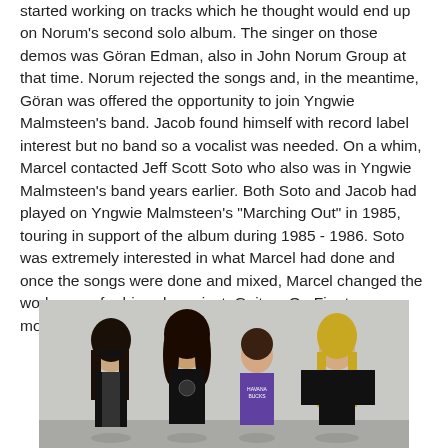started working on tracks which he thought would end up on Norum's second solo album. The singer on those demos was Göran Edman, also in John Norum Group at that time. Norum rejected the songs and, in the meantime, Göran was offered the opportunity to join Yngwie Malmsteen's band. Jacob found himself with record label interest but no band so a vocalist was needed. On a whim, Marcel contacted Jeff Scott Soto who also was in Yngwie Malmsteen's band years earlier. Both Soto and Jacob had played on Yngwie Malmsteen's "Marching Out" in 1985, touring in support of the album during 1985 - 1986. Soto was extremely interested in what Marcel had done and once the songs were done and mixed, Marcel changed the work name for his solo project, Guitars On Fire to a new moniker called, TALISMAN.
[Figure (photo): Four members of the band Talisman posing together against a light background. From left to right: a person with long dark hair wearing sunglasses and a black jacket, a person with long curly hair wearing a black sleeveless shirt, a shorter person wearing a purple 'Havana Bucks' jersey, and a person with long blonde hair wearing a black long-sleeve shirt.]